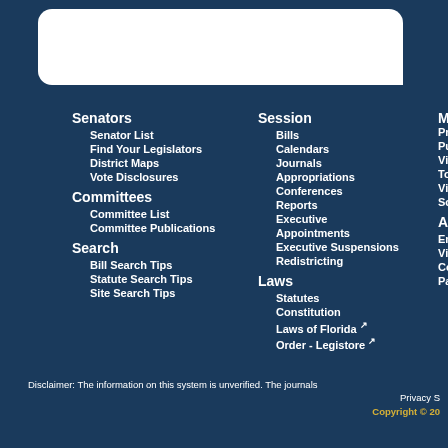[Figure (other): White search bar / header area at the top of the Florida Senate website]
Senators
Senator List
Find Your Legislators
District Maps
Vote Disclosures
Committees
Committee List
Committee Publications
Search
Bill Search Tips
Statute Search Tips
Site Search Tips
Session
Bills
Calendars
Journals
Appropriations
Conferences
Reports
Executive Appointments
Executive Suspensions
Redistricting
Laws
Statutes
Constitution
Laws of Florida
Order - Legistore
Media
Disclaimer: The information on this system is unverified. The journals
Privacy S
Copyright © 20